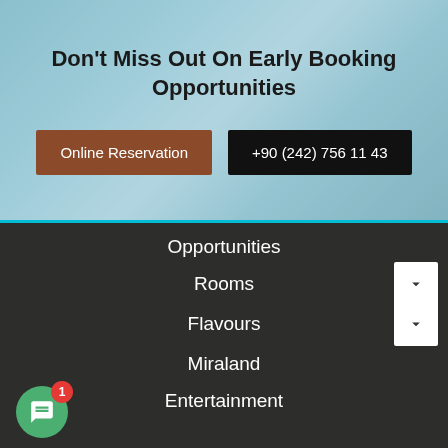Don't Miss Out On Early Booking Opportunities
Online Reservation
+90 (242) 756 11 43
Opportunities
Rooms
Flavours
Miraland
Entertainment